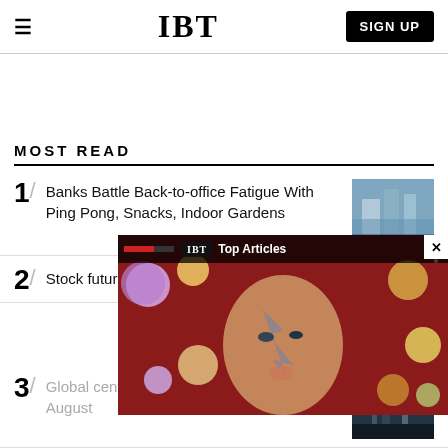IBT  SIGN UP
MOST READ
1/ Banks Battle Back-to-office Fatigue With Ping Pong, Snacks, Indoor Gardens
2/ Stock futures jump after August
[Figure (screenshot): IBT Top Articles overlay popup with David Bowie mural image]
3/ Global central banks ease off hiking cycle in August